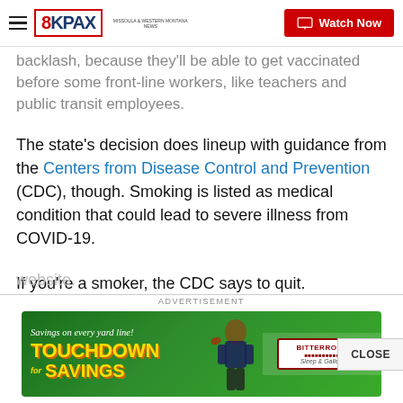8KPAX | Watch Now
backlash, because they'll be able to get vaccinated before some front-line workers, like teachers and public transit employees.
The state's decision does lineup with guidance from the Centers from Disease Control and Prevention (CDC), though. Smoking is listed as medical condition that could lead to severe illness from COVID-19.
If you're a smoker, the CDC says to quit.
“If you used to smoke, don’t start again. If you’ve never smoked, don’t start,” the agency wrote on its
website.
[Figure (screenshot): Touchdown Savings advertisement banner with football player, green field background, and Bitterroot store logo with tagline 'Savings on every yard line!']